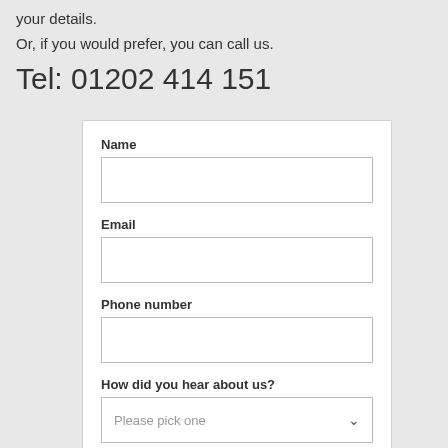your details.
Or, if you would prefer, you can call us.
Tel: 01202 414 151
[Figure (other): Web contact form with fields for Name, Email, Phone number, How did you hear about us (dropdown with placeholder 'Please pick one'), and a Learn more button]
Learn more